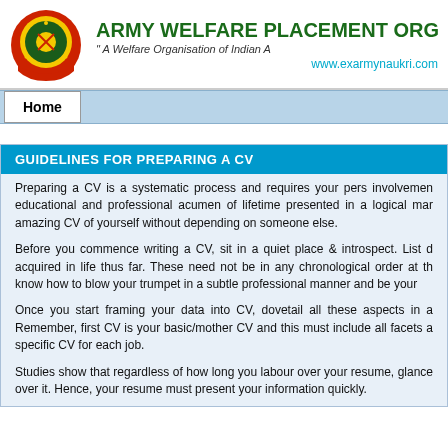ARMY WELFARE PLACEMENT ORGAN | "A Welfare Organisation of Indian A | www.exarmynaukri.com
Home
GUIDELINES FOR PREPARING A CV
Preparing a CV is a systematic process and requires your pers involvement educational and professional acumen of lifetime presented in a logical man amazing CV of yourself without depending on someone else.
Before you commence writing a CV, sit in a quiet place & introspect. List acquired in life thus far. These need not be in any chronological order at th know how to blow your trumpet in a subtle professional manner and be your
Once you start framing your data into CV, dovetail all these aspects in a Remember, first CV is your basic/mother CV and this must include all facets a specific CV for each job.
Studies show that regardless of how long you labour over your resume, glance over it. Hence, your resume must present your information quickly.